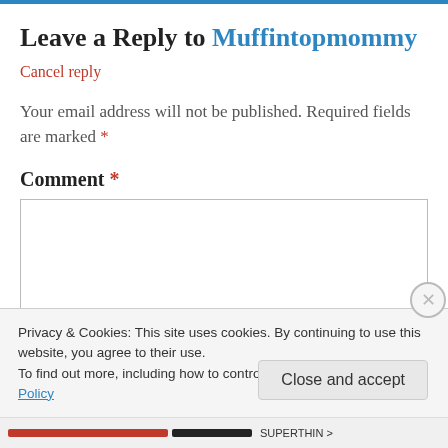Leave a Reply to Muffintopmommy
Cancel reply
Your email address will not be published. Required fields are marked *
Comment *
Privacy & Cookies: This site uses cookies. By continuing to use this website, you agree to their use. To find out more, including how to control cookies, see here: Cookie Policy